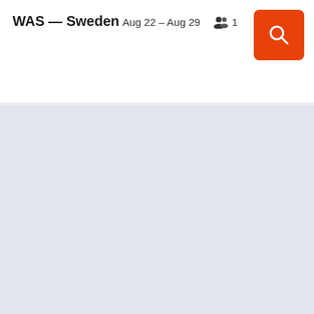WAS — Sweden
Aug 22 – Aug 29   👥 1
[Figure (other): Orange search button with magnifying glass icon]
[Figure (other): Light gray-blue content area (empty results area)]